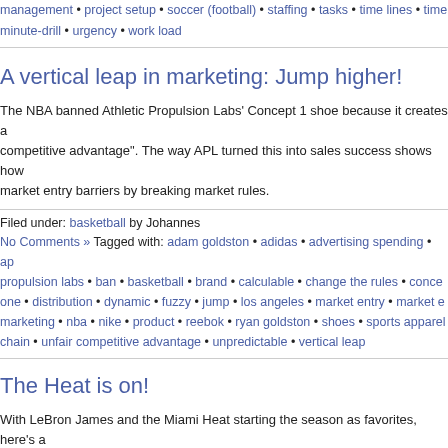management • project setup • soccer (football) • staffing • tasks • time lines • time minute-drill • urgency • work load
A vertical leap in marketing: Jump higher!
The NBA banned Athletic Propulsion Labs' Concept 1 shoe because it creates an competitive advantage". The way APL turned this into sales success shows how market entry barriers by breaking market rules.
Filed under: basketball by Johannes
No Comments » Tagged with: adam goldston • adidas • advertising spending • ap propulsion labs • ban • basketball • brand • calculable • change the rules • conce one • distribution • dynamic • fuzzy • jump • los angeles • market entry • market e marketing • nba • nike • product • reebok • ryan goldston • shoes • sports apparel chain • unfair competitive advantage • unpredictable • vertical leap
The Heat is on!
With LeBron James and the Miami Heat starting the season as favorites, here's a why the labor market in the NBA is fairer than the one you're on and how compar this to gain a competitive edge.
Filed under: basketball by Johannes
No Comments » Tagged with: alternatives • basketball • boston celtic • chelsea fo